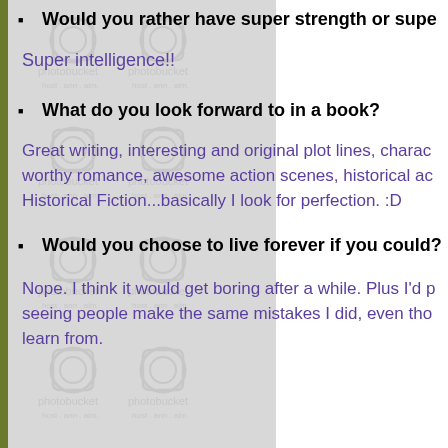Would you rather have super strength or super intelligence?
Super intelligence!!
What do you look forward to in a book?
Great writing, interesting and original plot lines, characters worthy romance, awesome action scenes, historical accuracy in Historical Fiction...basically I look for perfection. :D
Would you choose to live forever if you could?
Nope. I think it would get boring after a while. Plus I'd p seeing people make the same mistakes I did, even tho learn from.